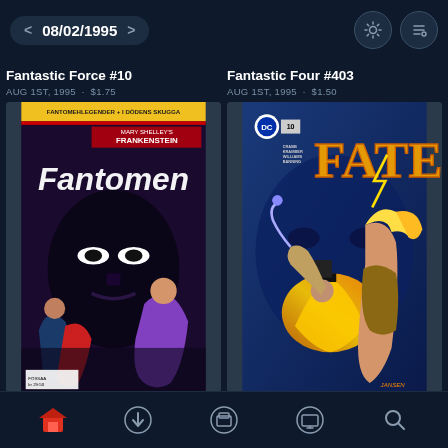08/02/1995
Fantastic Force #10
AUG 1ST, 1995 · $1.75
[Figure (illustration): Comic book cover for Fantomen (Fantomeh Legender + I Dödens Skugga), featuring a dark masked figure with Frankenstein text, a woman in purple, and action figures below.]
Fantastic Four #403
AUG 1ST, 1995 · $1.50
[Figure (illustration): Comic book cover for FATE, issue 10, featuring a woman with blonde hair, a man in a top hat with glowing magic, on a blue action-styled background. DC Comics logo visible.]
Navigation icons: home, download, archive, monitor, search